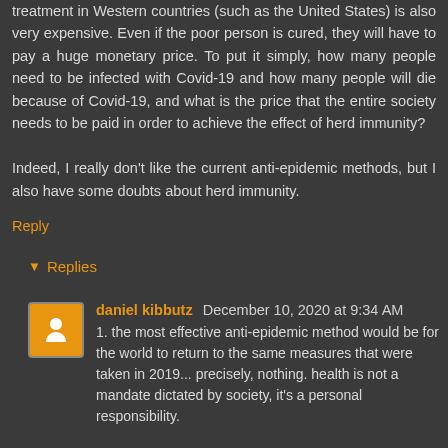treatment in Western countries (such as the United States) is also very expensive. Even if the poor person is cured, they will have to pay a huge monetary price. To put it simply, how many people need to be infected with Covid-19 and how many people will die because of Covid-19, and what is the price that the entire society needs to be paid in order to achieve the effect of herd immunity?

Indeed, I really don't like the current anti-epidemic methods, but I also have some doubts about herd immunity.
Reply
Replies
daniel kibbutz December 10, 2020 at 9:34 AM
1. the most effective anti-epidemic method would be for the world to return to the same measures that were taken in 2019... precisely, nothing. health is not a mandate dictated by society, it's a personal responsibility.